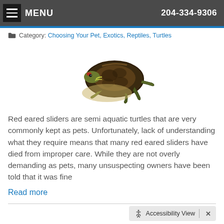MENU   204-334-9306
Category: Choosing Your Pet, Exotics, Reptiles, Turtles
[Figure (photo): A red-eared slider turtle viewed from the side, showing its dark shell and yellow-striped neck, on a white background.]
Red eared sliders are semi aquatic turtles that are very commonly kept as pets. Unfortunately, lack of understanding what they require means that many red eared sliders have died from improper care. While they are not overly demanding as pets, many unsuspecting owners have been told that it was fine
Read more
Accessibility View